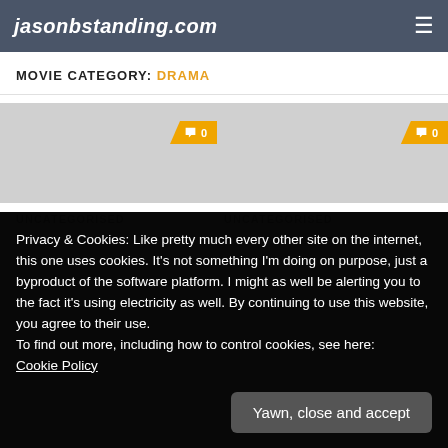jasonbstanding.com
MOVIE CATEGORY: DRAMA
[Figure (other): Gray image strip with two orange comment badges each showing a speech bubble icon and '0']
UNCATEGORISED
UNCATEGORISED
Privacy & Cookies: Like pretty much every other site on the internet, this one uses cookies. It's not something I'm doing on purpose, just a byproduct of the software platform. I might as well be alerting you to the fact it's using electricity as well. By continuing to use this website, you agree to their use.
To find out more, including how to control cookies, see here:
Cookie Policy
Yawn, close and accept
"different generation"
story in which an